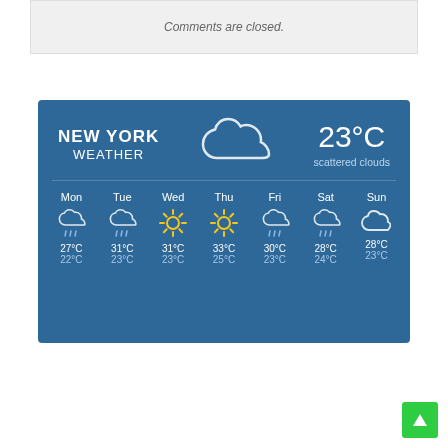Comments are closed.
[Figure (infographic): New York Weather widget showing current temperature 23°C with scattered clouds, and a 7-day forecast for Mon-Sun with icons and high/low temperatures.]
[Figure (other): Green scroll-to-top button with upward arrow icon in the bottom-right corner.]